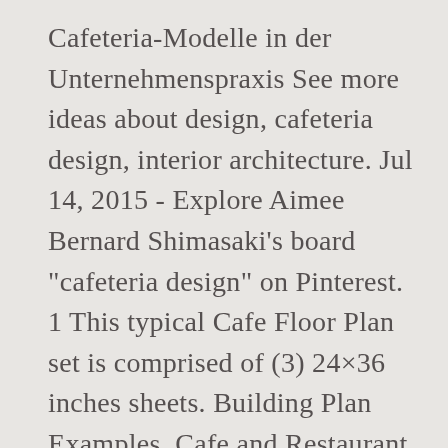Cafeteria-Modelle in der Unternehmenspraxis See more ideas about design, cafeteria design, interior architecture. Jul 14, 2015 - Explore Aimee Bernard Shimasaki's board "cafeteria design" on Pinterest. 1 This typical Cafe Floor Plan set is comprised of (3) 24×36 inches sheets. Building Plan Examples, Cafe and Restaurant Floor Plans | Cafeteria Design In Interior Pdf, Restaurent Interior Electrical Plan Pdf. Wir alle wissen jedoch, wie schwierig es ist, das beste Menü/die beste Karte für Ihr Restaurant oder Café zu finden, insbesondere wenn Sie sich bemühen, ein erfolgreiches Geschäft zu führen. Anmelden. Shapes and Forms for Cafeteria Design. A cafeteria, sometimes called a canteen outside the US, is